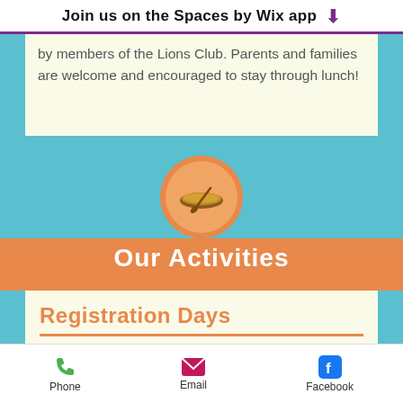Join us on the Spaces by Wix app
by members of the Lions Club. Parents and families are welcome and encouraged to stay through lunch!
[Figure (illustration): Canoe icon inside an orange circle on a teal background]
Our Activities
Registration Days
Phone  Email  Facebook